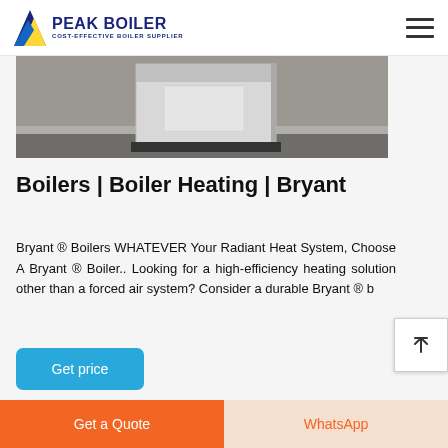PEAK BOILER — COST-EFFECTIVE BOILER SUPPLIER
[Figure (photo): Photograph of a boiler unit on a concrete floor, partially cropped at the top.]
Boilers | Boiler Heating | Bryant
Bryant ® Boilers WHATEVER Your Radiant Heat System, Choose A Bryant ® Boiler.. Looking for a high-efficiency heating solution other than a forced air system? Consider a durable Bryant ® b
[Figure (other): Get price button — blue rounded rectangle with white text 'Get price']
Get a Quote | WhatsApp